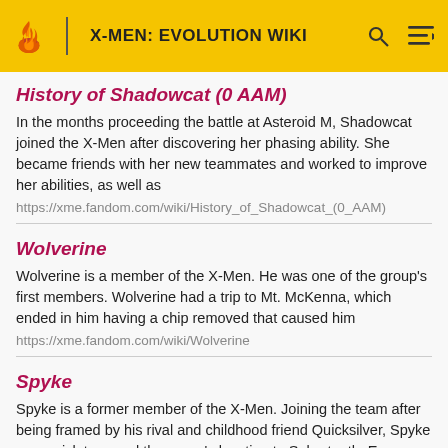X-MEN: EVOLUTION WIKI
History of Shadowcat (0 AAM)
In the months proceeding the battle at Asteroid M, Shadowcat joined the X-Men after discovering her phasing ability. She became friends with her new teammates and worked to improve her abilities, as well as
https://xme.fandom.com/wiki/History_of_Shadowcat_(0_AAM)
Wolverine
Wolverine is a member of the X-Men. He was one of the group's first members. Wolverine had a trip to Mt. McKenna, which ended in him having a chip removed that caused him
https://xme.fandom.com/wiki/Wolverine
Spyke
Spyke is a former member of the X-Men. Joining the team after being framed by his rival and childhood friend Quicksilver, Spyke was quick to reveal the group's location to Sabretooth. Even